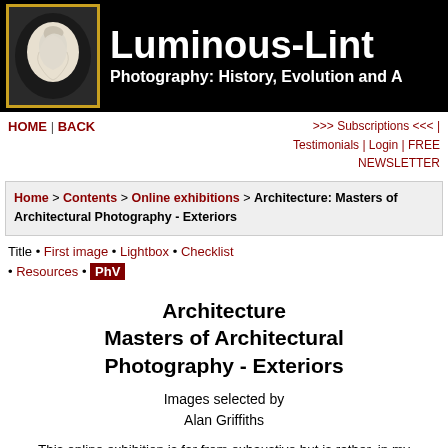Luminous-Lint Photography: History, Evolution and A
HOME | BACK >>> Subscriptions <<< | Testimonials | Login | FREE NEWSLETTER
Home > Contents > Online exhibitions > Architecture: Masters of Architectural Photography - Exteriors
Title • First image • Lightbox • Checklist • Resources • PhV
Architecture Masters of Architectural Photography - Exteriors
Images selected by Alan Griffiths
This online exhibition is far from exhaustive but is rather, in my own defense, a sampling of five images from a number of photographers who